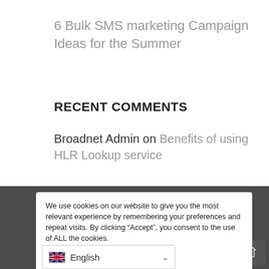6 Bulk SMS marketing Campaign Ideas for the Summer
RECENT COMMENTS
Broadnet Admin on Benefits of using HLR Lookup service
Abdullahi on Benefits of HLR Lookup service
Broadnet Admin on Give your business a go with BroadNet's amazing SMS
We use cookies on our website to give you the most relevant experience by remembering your preferences and repeat visits. By clicking “Accept”, you consent to the use of ALL the cookies.
Cookie settings    ACCEPT
English